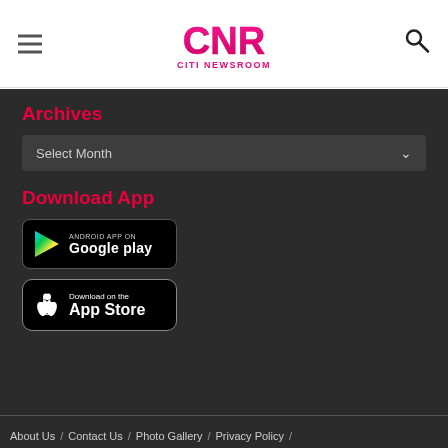[Figure (logo): CNR Citi Newsroom logo with pink/magenta lettering]
Archives
Select Month
Download App
[Figure (screenshot): Android App on Google Play button]
[Figure (screenshot): Download on the App Store button]
About Us / Contact Us / Photo Gallery / Privacy Policy /